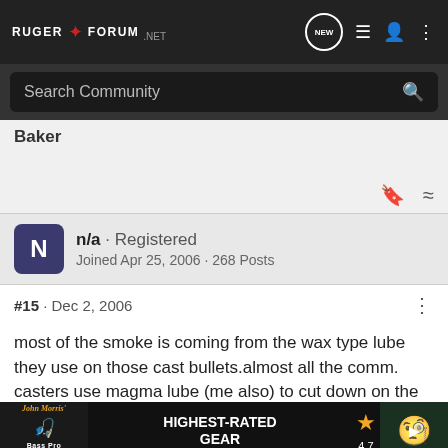RUGER FORUM .NET
Search Community
Baker
n/a · Registered
Joined Apr 25, 2006 · 268 Posts
#15 · Dec 2, 2006
most of the smoke is coming from the wax type lube they use on those cast bullets.almost all the comm. casters use magma lube (me also) to cut down on the smoke buy a bottle of the lee tumble lube.
just app… wax paper to… reat bull…
[Figure (screenshot): Bass Pro Shops advertisement banner with text 'HIGHEST-RATED GEAR', a star rating of 4.7, and binoculars image with play button]